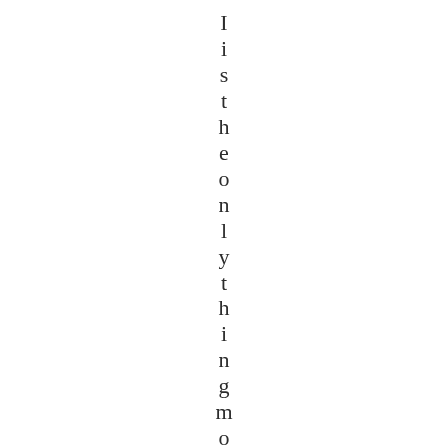I is the only thing more out of c